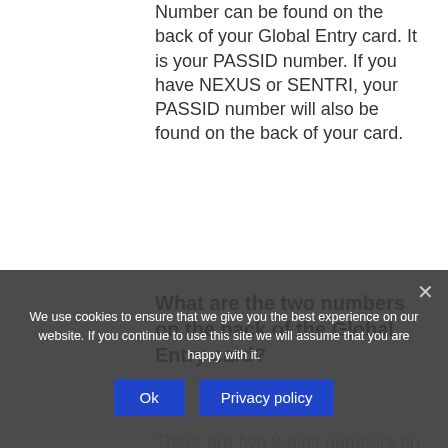Number can be found on the back of your Global Entry card. It is your PASSID number. If you have NEXUS or SENTRI, your PASSID number will also be found on the back of your card.
What are the two numbers on the back of the Global Entry card?
There are two 9-digit numbers on the back of the Global Entry card. One on the upper left corner is the Known Traveler Number or PASSID. But on
We use cookies to ensure that we give you the best experience on our website. If you continue to use this site we will assume that you are happy with it.